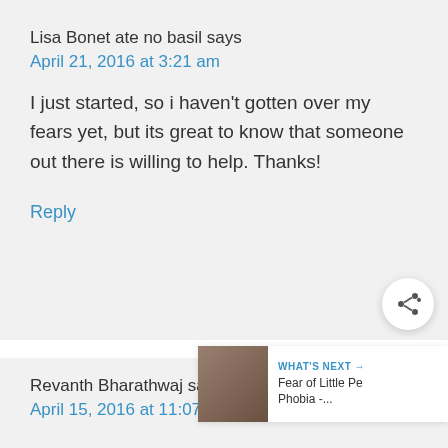Lisa Bonet ate no basil says
April 21, 2016 at 3:21 am
I just started, so i haven't gotten over my fears yet, but its great to know that someone out there is willing to help. Thanks!
Reply
Revanth Bharathwaj says
April 15, 2016 at 11:07 am